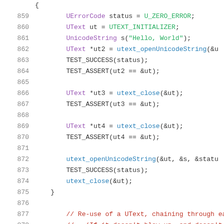Code listing lines 859-879, C++ source code for Unicode string handling test
859: UErrorCode status = U_ZERO_ERROR;
860: UText ut = UTEXT_INITIALIZER;
861: UnicodeString s("Hello, World");
862: UText *ut2 = utext_openUnicodeString(&u
863: TEST_SUCCESS(status);
864: TEST_ASSERT(ut2 == &ut);
865: (blank)
866: UText *ut3 = utext_close(&ut);
867: TEST_ASSERT(ut3 == &ut);
868: (blank)
869: UText *ut4 = utext_close(&ut);
870: TEST_ASSERT(ut4 == &ut);
871: (blank)
872: utext_openUnicodeString(&ut, &s, &statu
873: TEST_SUCCESS(status);
874: utext_close(&ut);
875: }
876: (blank)
877: // Re-use of a UText, chaining through each
878: //   (If it doesn't blow up, and doesn't le
879: {